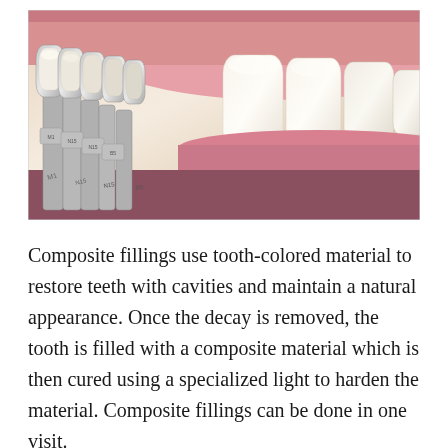[Figure (photo): Close-up photograph of a dental shade guide being held up against a patient's teeth. The guide shows multiple tooth-colored shades on metal tabs with labels (M1, N15, etc.) compared against natural white teeth visible in the background.]
Composite fillings use tooth-colored material to restore teeth with cavities and maintain a natural appearance. Once the decay is removed, the tooth is filled with a composite material which is then cured using a specialized light to harden the material. Composite fillings can be done in one visit.